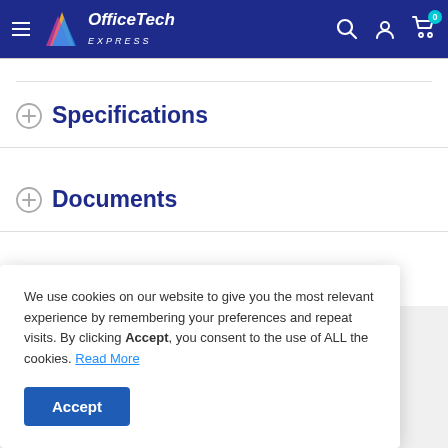OfficeTech EXPRESS
Specifications
Documents
F...
We use cookies on our website to give you the most relevant experience by remembering your preferences and repeat visits. By clicking Accept, you consent to the use of ALL the cookies. Read More